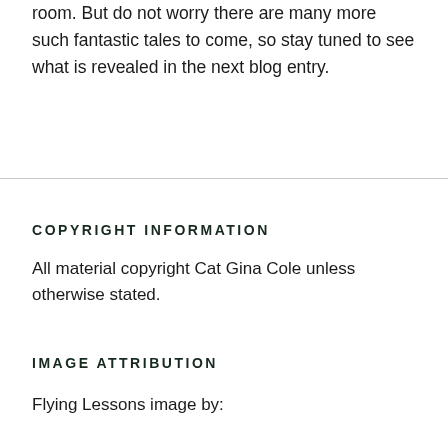room. But do not worry there are many more such fantastic tales to come, so stay tuned to see what is revealed in the next blog entry.
COPYRIGHT INFORMATION
All material copyright Cat Gina Cole unless otherwise stated.
IMAGE ATTRIBUTION
Flying Lessons image by: